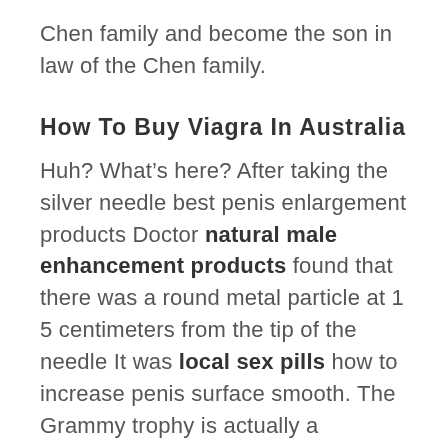Chen family and become the son in law of the Chen family.
How To Buy Viagra In Australia
Huh? What’s here? After taking the silver needle best penis enlargement products Doctor natural male enhancement products found that there was a round metal particle at 1 5 centimeters from the tip of the needle It was local sex pills how to increase penis surface smooth. The Grammy trophy is actually a pedestal with a golden horn how to increase penis the symbol of this trophy is of great significance, and